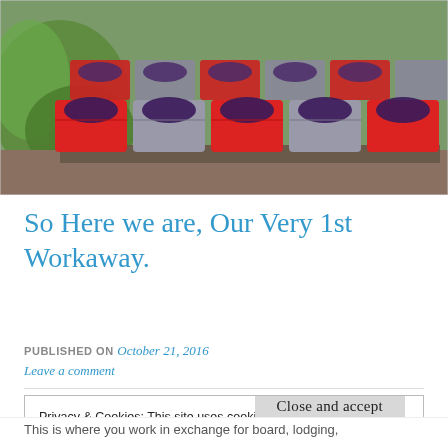[Figure (photo): Rows of red and grey plastic harvest crates filled with dark purple grapes, set outdoors among green grapevine leaves]
So Here we are, Our Very 1st Workaway.
PUBLISHED ON October 21, 2016
Leave a comment
Privacy & Cookies: This site uses cookies. By continuing to use this website, you agree to their use.
To find out more, including how to control cookies, see here:
Cookie Policy
Close and accept
This is where you work in exchange for board, lodging,